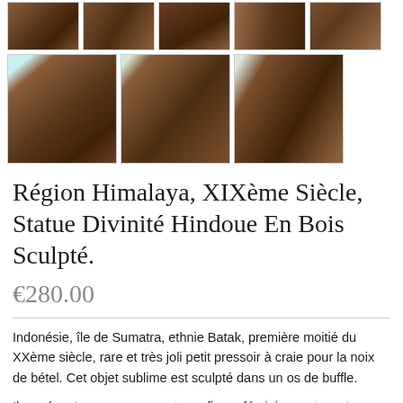[Figure (photo): Row of 5 small thumbnail photos of a dark wooden carved Hindu deity statue from various angles]
[Figure (photo): Row of 3 larger thumbnail photos of a dark wooden carved Hindu deity statue from various angles]
Région Himalaya, XIXème Siècle, Statue Divinité Hindoue En Bois Sculpté.
€280.00
Indonésie, île de Sumatra, ethnie Batak, première moitié du XXème siècle, rare et très joli petit pressoir à craie pour la noix de bétel. Cet objet sublime est sculpté dans un os de buffle.
Il représente en son sommet une figure féminine se tenant debout sur une base ronde, les mains jointes